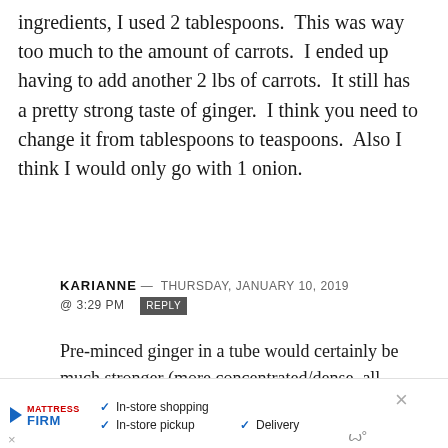ingredients, I used 2 tablespoons. This was way too much to the amount of carrots. I ended up having to add another 2 lbs of carrots. It still has a pretty strong taste of ginger. I think you need to change it from tablespoons to teaspoons. Also I think I would only go with 1 onion.
KARIANNE — THURSDAY, JANUARY 10, 2019 @ 3:29 PM REPLY
Pre-minced ginger in a tube would certainly be much stronger (more concentrated/dense, all flavors meld together) than fresh ginger as the recipe
[Figure (other): Advertisement banner for Mattress Firm showing in-store shopping, in-store pickup, and delivery options with a navigation/direction icon and close button]